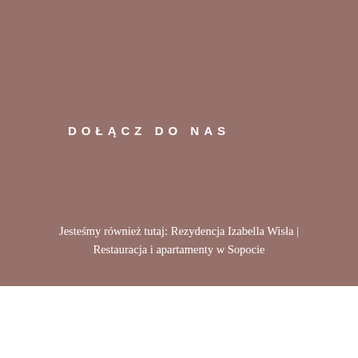DOŁĄCZ DO NAS
Jesteśmy również tutaj: Rezydencja Izabella Wisła | Restauracja i apartamenty w Sopocie